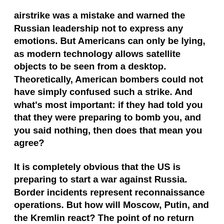airstrike was a mistake and warned the Russian leadership not to express any emotions. But Americans can only be lying, as modern technology allows satellite objects to be seen from a desktop. Theoretically, American bombers could not have simply confused such a strike. And what's most important: if they had told you that they were preparing to bomb you, and you said nothing, then does that mean you agree?
It is completely obvious that the US is preparing to start a war against Russia. Border incidents represent reconnaissance operations. But how will Moscow, Putin, and the Kremlin react? The point of no return has not yet been crossed, but did Moscow's reaction not show just how many Russians are ready for a direct, frontal confrontation with the US and NATO? This was why the airstrike was launched against Syrian army positions.
The fatality of the situation lies in that, if Washington